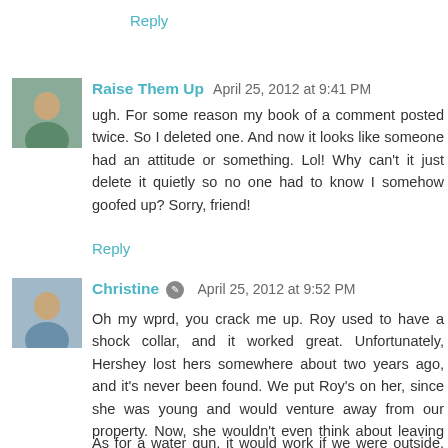Reply
[Figure (photo): Avatar photo of Raise Them Up commenter]
Raise Them Up  April 25, 2012 at 9:41 PM
ugh. For some reason my book of a comment posted twice. So I deleted one. And now it looks like someone had an attitude or something. Lol! Why can't it just delete it quietly so no one had to know I somehow goofed up? Sorry, friend!
Reply
[Figure (photo): Avatar photo of Christine commenter]
Christine  April 25, 2012 at 9:52 PM
Oh my wprd, you crack me up. Roy used to have a shock collar, and it worked great. Unfortunately, Hershey lost hers somewhere about two years ago, and it's never been found. We put Roy's on her, since she was young and would venture away from our property. Now, she wouldn't even think about leaving Roy's side. So we put it back on him. he got shocked one time when heading to the barn, and now he won't go within 50 feet of it. yeah!
As for a water gun, it would work if we were outside, 24